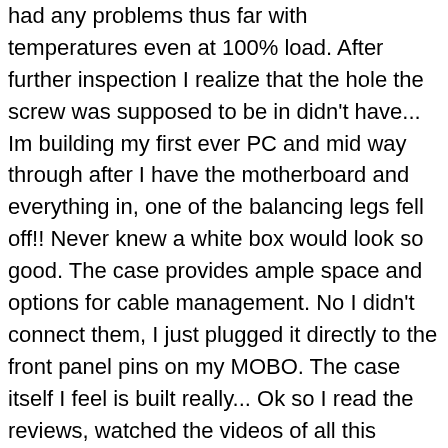had any problems thus far with temperatures even at 100% load. After further inspection I realize that the hole the screw was supposed to be in didn't have... Im building my first ever PC and mid way through after I have the motherboard and everything in, one of the balancing legs fell off!! Never knew a white box would look so good. The case provides ample space and options for cable management. No I didn't connect them, I just plugged it directly to the front panel pins on my MOBO. The case itself I feel is built really... Ok so I read the reviews, watched the videos of all this concern with thermal problems in this case due to the front glass. From the get go I wanted to put an All in one (AIO) CPU cooler in my build. A: The tempered glass is really good quality, and it didn't come with any scratches. For the 2020 holiday season, returnable items shipped between October 1 and December 31 can be returned until January 31, 2021. I have a MSI B450 tomahawk max board and I cannot see anything available to connect cable from case (see pic). However, I liked it too much and didn't bother for a replacement. ... Can the Smart Device in my